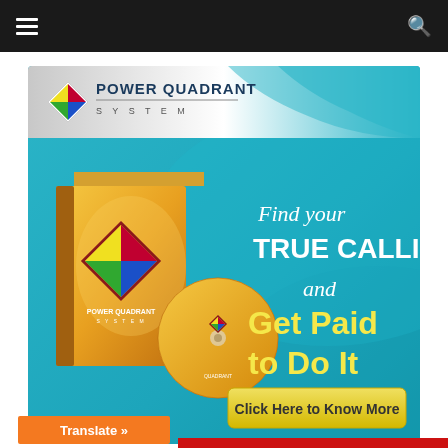Navigation bar with hamburger menu and search icon
[Figure (illustration): Power Quadrant System advertisement banner. Teal/blue background with a product box and CD showing diamond logo with colored quadrants. Text reads: 'Find your TRUE CALLING and Get Paid to Do It' with a yellow button 'Click Here to Know More'. Power Quadrant System logo in top left corner.]
Translate »